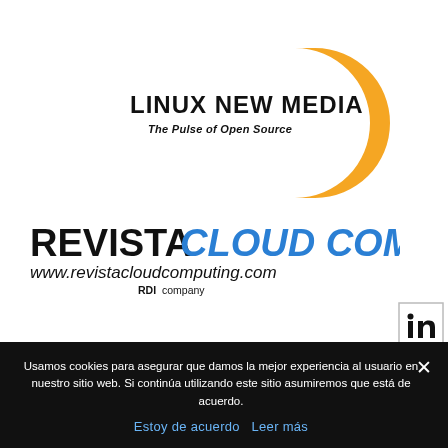[Figure (logo): Linux New Media logo with orange D-shaped graphic and text 'LINUX NEW MEDIA / The Pulse of Open Source']
[Figure (logo): Revista Cloud Computing logo with URL www.revistacloudcomputing.com and 'RDI company' tagline]
[Figure (logo): LinkedIn social media icon button]
[Figure (logo): Twitter social media icon button]
Usamos cookies para asegurar que damos la mejor experiencia al usuario en nuestro sitio web. Si continúa utilizando este sitio asumiremos que está de acuerdo.
Estoy de acuerdo  Leer más